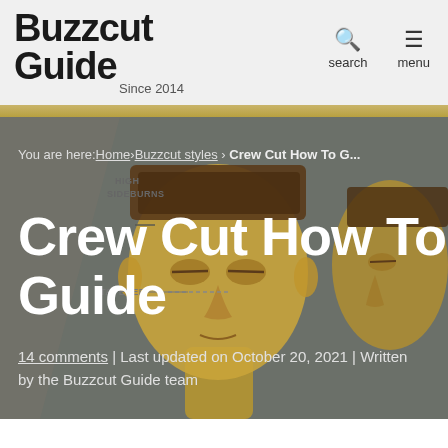Buzzcut Guide — Since 2014 | search | menu
[Figure (illustration): Illustrated male head diagram showing crew cut hairstyle with labels: HIGH SIDEBURNS and TAPERED. Background is grey with a gold/tan colored illustrated face. Two partial face profiles visible on right side.]
You are here: Home › Buzzcut styles › Crew Cut How To G...
Crew Cut How To Guide
14 comments | Last updated on October 20, 2021 | Written by the Buzzcut Guide team